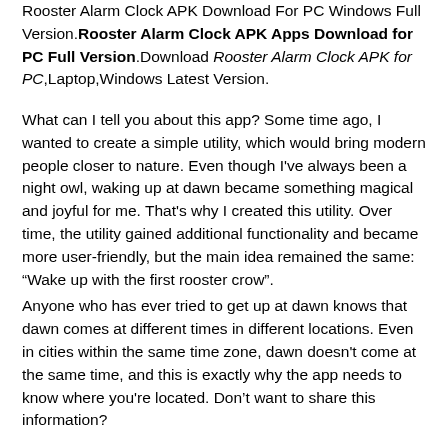Rooster Alarm Clock APK Download For PC Windows Full Version. Rooster Alarm Clock APK Apps Download for PC Full Version. Download Rooster Alarm Clock APK for PC,Laptop,Windows Latest Version.
What can I tell you about this app? Some time ago, I wanted to create a simple utility, which would bring modern people closer to nature. Even though I've always been a night owl, waking up at dawn became something magical and joyful for me. That's why I created this utility. Over time, the utility gained additional functionality and became more user-friendly, but the main idea remained the same: “Wake up with the first rooster crow”.
Anyone who has ever tried to get up at dawn knows that dawn comes at different times in different locations. Even in cities within the same time zone, dawn doesn't come at the same time, and this is exactly why the app needs to know where you're located. Don't want to share this information?